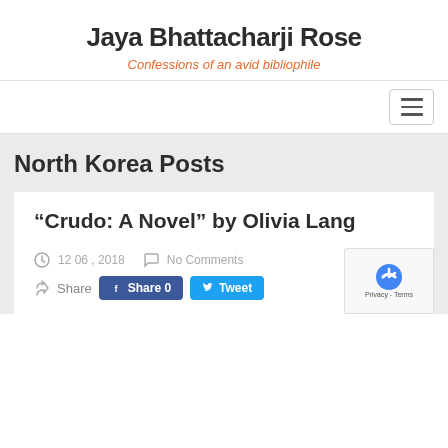Jaya Bhattacharji Rose
Confessions of an avid bibliophile
North Korea Posts
“Crudo: A Novel” by Olivia Lang
12 06 , 2018   No Comments
Share   Share 0   Tweet